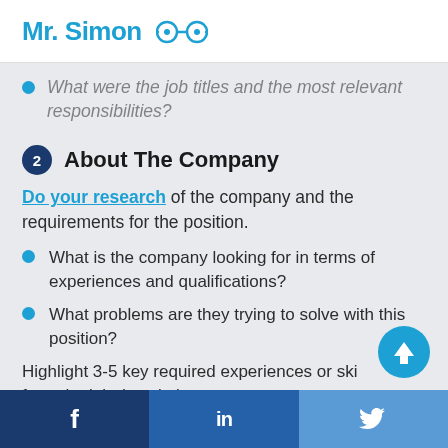Mr. Simon
What were the job titles and the most relevant responsibilities?
2 About The Company
Do your research of the company and the requirements for the position.
What is the company looking for in terms of experiences and qualifications?
What problems are they trying to solve with this position?
Highlight 3-5 key required experiences or skills from the job description.
f  in  (twitter bird)